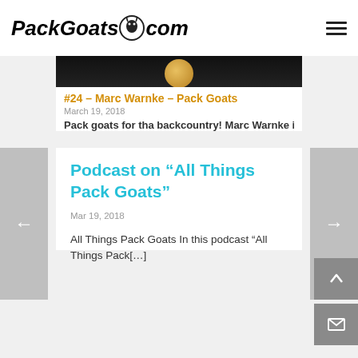PackGoats.com
[Figure (screenshot): Partially visible podcast thumbnail image with black background and golden circle element]
#24 - Marc Warnke - Pack Goats
March 19, 2018
Pack goats for tha backcountry! Marc Warnke is as
Podcast on “All Things Pack Goats”
Mar 19, 2018
All Things Pack Goats In this podcast “All Things Pack[...]